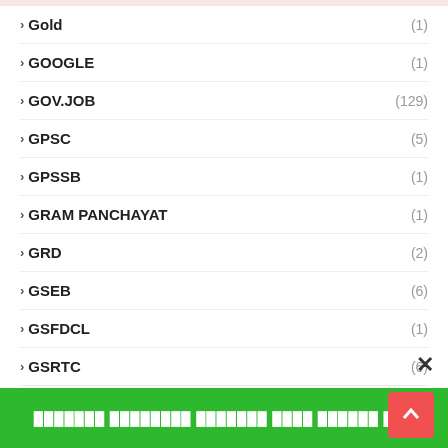› Gold (1)
› GOOGLE (1)
› GOV.JOB (129)
› GPSC (5)
› GPSSB (1)
› GRAM PANCHAYAT (1)
› GRD (2)
› GSEB (6)
› GSFDCL (1)
› GSRTC (6)
› GSSSB (1)
› GUJARAT BUDGET